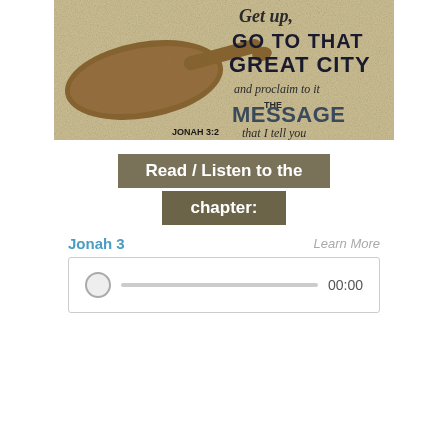[Figure (illustration): Decorative biblical illustration on aged parchment background with a pointing hand silhouette in brown. Text reads: 'Get up, GO TO THAT GREAT CITY and proclaim to it THE MESSAGE that I tell you' with citation 'JONAH 3:2']
Read / Listen to the chapter:
Jonah 3
Learn More
[Figure (screenshot): Audio player widget showing a circular play button, a progress slider at 00:00, and the time display '00:00']